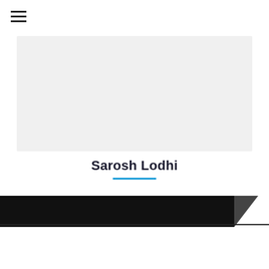[Figure (other): Hamburger menu icon (three horizontal lines)]
[Figure (other): Gray placeholder image/content box]
Sarosh Lodhi
[Figure (other): Blue horizontal divider line under author name]
[Figure (other): Black banner/header bar with dark triangular accent on right side]
[Figure (other): Search input box with placeholder 'Type and hit enter...' and search icon, plus blue scroll-to-top button with upward arrow]